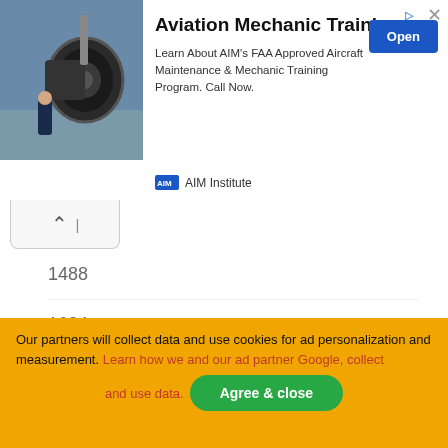[Figure (photo): Advertisement banner for AIM Institute Aviation Mechanic Training. Shows jet engine image on left, title 'Aviation Mechanic Training', body text about FAA Approved Aircraft Maintenance program, an 'Open' button, and AIM Institute logo.]
1488
1624
870
1056
2008
2007
1802.4
Our partners will collect data and use cookies for ad personalization and measurement. Learn how we and our ad partner Google, collect and use data. Agree & close